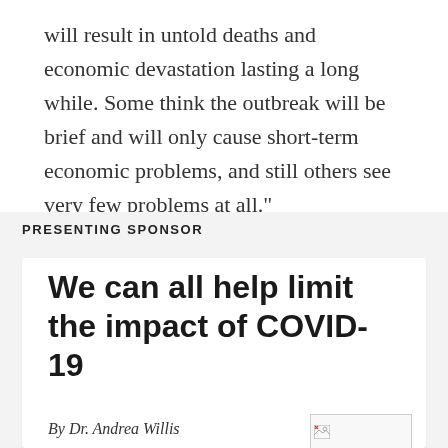will result in untold deaths and economic devastation lasting a long while. Some think the outbreak will be brief and will only cause short-term economic problems, and still others see very few problems at all."
PRESENTING SPONSOR
We can all help limit the impact of COVID-19
By Dr. Andrea Willis
[Figure (photo): Small image placeholder with broken image icon in the bottom right area of the sponsor card]